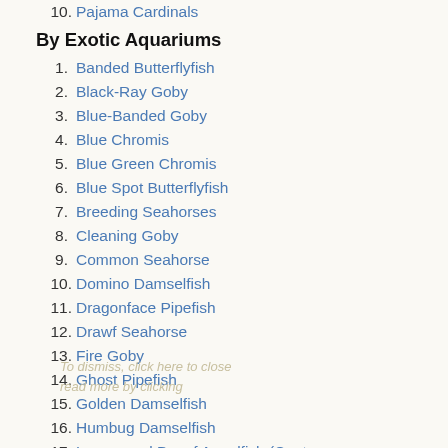10. Pajama Cardinals
By Exotic Aquariums
1. Banded Butterflyfish
2. Black-Ray Goby
3. Blue-Banded Goby
4. Blue Chromis
5. Blue Green Chromis
6. Blue Spot Butterflyfish
7. Breeding Seahorses
8. Cleaning Goby
9. Common Seahorse
10. Domino Damselfish
11. Dragonface Pipefish
12. Drawf Seahorse
13. Fire Goby
14. Ghost Pipefish
15. Golden Damselfish
16. Humbug Damselfish
17. Lemonpeel Dwarf Angelfish (Centropyge